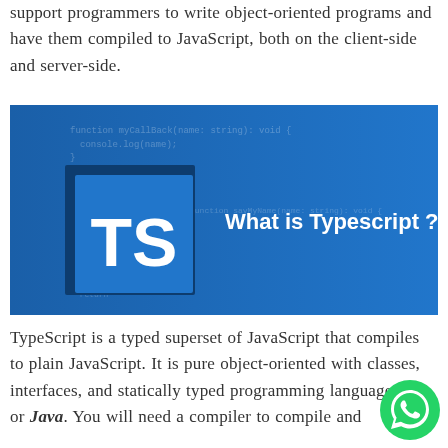support programmers to write object-oriented programs and have them compiled to JavaScript, both on the client-side and server-side.
[Figure (screenshot): TypeScript promotional image with blue background showing code snippets, a blue TS logo square on left, and text 'What is Typescript ?' on the right in white bold text.]
TypeScript is a typed superset of JavaScript that compiles to plain JavaScript. It is pure object-oriented with classes, interfaces, and statically typed programming languages like or Java. You will need a compiler to compile and